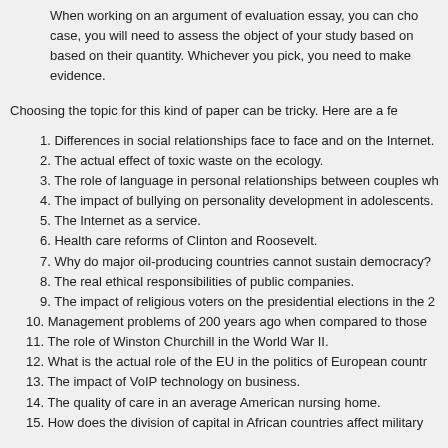When working on an argument of evaluation essay, you can cho case, you will need to assess the object of your study based on based on their quantity. Whichever you pick, you need to make evidence.
Choosing the topic for this kind of paper can be tricky. Here are a fe
1. Differences in social relationships face to face and on the Internet.
2. The actual effect of toxic waste on the ecology.
3. The role of language in personal relationships between couples wh
4. The impact of bullying on personality development in adolescents.
5. The Internet as a service.
6. Health care reforms of Clinton and Roosevelt.
7. Why do major oil-producing countries cannot sustain democracy?
8. The real ethical responsibilities of public companies.
9. The impact of religious voters on the presidential elections in the 2
10. Management problems of 200 years ago when compared to those
11. The role of Winston Churchill in the World War II.
12. What is the actual role of the EU in the politics of European countr
13. The impact of VoIP technology on business.
14. The quality of care in an average American nursing home.
15. How does the division of capital in African countries affect military
Think of what subject interests both you and your readers. You need their attention. However, you also need to pick a topic you will be